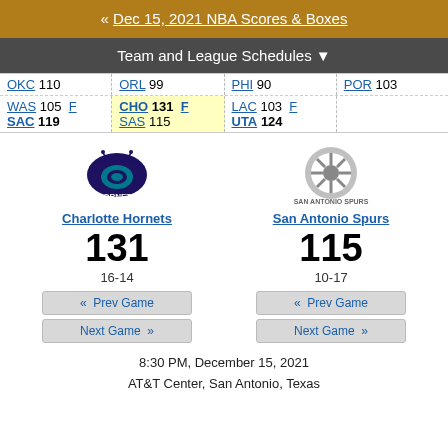« Dec 15, 2021 NBA Scores & Boxes
Team and League Schedules ▼
| OKC 110 | ORL 99 | PHI 90 | POR 103 |
| WAS 105 F
SAC 119 | CHO 131 F
SAS 115 | LAC 103 F
UTA 124 |  |
[Figure (logo): Charlotte Hornets logo]
Charlotte Hornets
131
16-14
[Figure (logo): San Antonio Spurs logo]
San Antonio Spurs
115
10-17
« Prev Game
Next Game »
« Prev Game
Next Game »
8:30 PM, December 15, 2021
AT&T Center, San Antonio, Texas